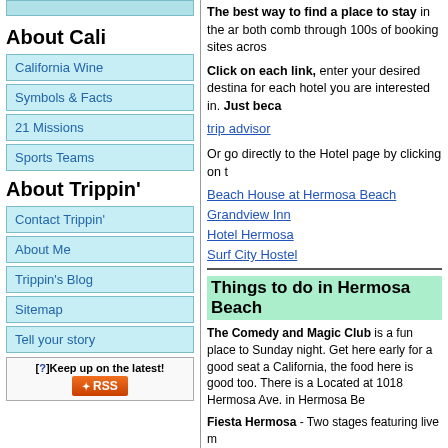[Figure (other): Top banner / decorative image strip in light blue]
About Cali
California Wine
Symbols & Facts
21 Missions
Sports Teams
About Trippin'
Contact Trippin'
About Me
Trippin's Blog
Sitemap
Tell your story
[?]Keep up on the latest! RSS
The best way to find a place to stay in the ar both comb through 100s of booking sites acros
Click on each link, enter your desired destina for each hotel you are interested in. Just beca
trip advisor
Or go directly to the Hotel page by clicking on t
Beach House at Hermosa Beach
Grandview Inn
Hotel Hermosa
Surf City Hostel
Things to do in Hermosa Beach
The Comedy and Magic Club is a fun place to Sunday night. Get here early for a good seat a California, the food here is good too. There is a Located at 1018 Hermosa Ave. in Hermosa Be
Fiesta Hermosa - Two stages featuring live m